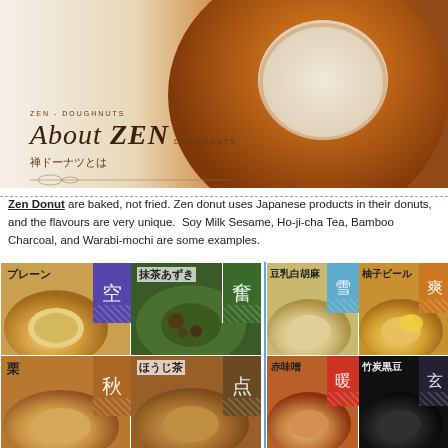[Figure (photo): Hero banner showing a baked donut (ring-shaped, golden brown) on a warm beige/cream background, with 'ZEN - DOUGHNUTS / About ZEN DOUGHNUTS / 禅ドーナツとは' branding overlay]
Zen Donut are baked, not fried. Zen donut uses Japanese products in their donuts, and the flavours are very unique. Soy Milk Sesame, Ho-ji-cha Tea, Bamboo Charcoal, and Warabi-mochi are some examples.
[Figure (photo): Grid of 8 donut flavor photos arranged in 2 rows of 4 columns. Left group: プレーン (plain), 抹茶あずき (matcha azuki), 栗 (chestnut), ほうじ茶 (hojicha). Right group: 豆乳白胡麻 (soy milk white sesame), 柚子ビール (yuzu beer), 赤味噌 (red miso), 竹炭黒豆 (bamboo charcoal black bean). Each cell has a Japanese kanji badge in one corner.]